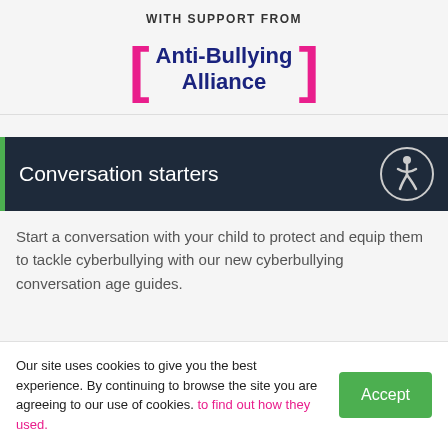WITH SUPPORT FROM
[Figure (logo): Anti-Bullying Alliance logo with pink square brackets and dark navy bold text reading Anti-Bullying Alliance]
Conversation starters
Start a conversation with your child to protect and equip them to tackle cyberbullying with our new cyberbullying conversation age guides.
Our site uses cookies to give you the best experience. By continuing to browse the site you are agreeing to our use of cookies. to find out how they used.